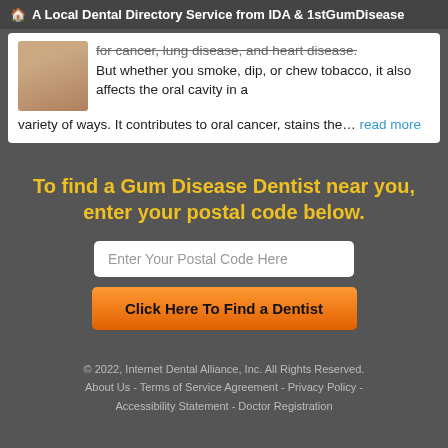🏠 A Local Dental Directory Service from IDA & 1stGumDisease
for cancer, lung disease, and heart disease. But whether you smoke, dip, or chew tobacco, it also affects the oral cavity in a variety of ways. It contributes to oral cancer, stains the… read more
To find a Gum Disease Dentist near you, enter your postal code below.
Enter Your Postal Code Here
Click Here To Find a Dentist
© 2022, Internet Dental Alliance, Inc. All Rights Reserved. About Us - Terms of Service Agreement - Privacy Policy - Accessibility Statement - Doctor Registration